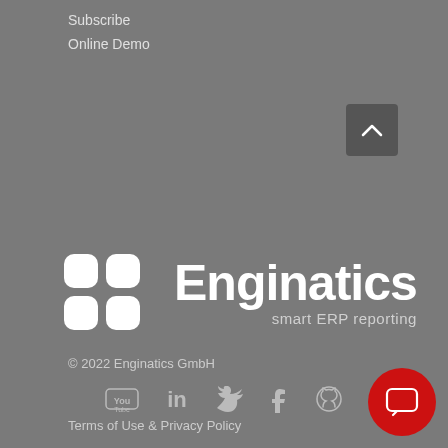Subscribe
Online Demo
[Figure (logo): Enginatics logo with four white rounded squares arranged in a 2x2 grid, followed by the text 'Enginatics' in large bold white font and 'smart ERP reporting' as a tagline below]
© 2022 Enginatics GmbH
[Figure (other): Row of 5 social media icons: YouTube, LinkedIn, Twitter, Facebook, GitHub — all in white/light gray]
Terms of Use & Privacy Policy